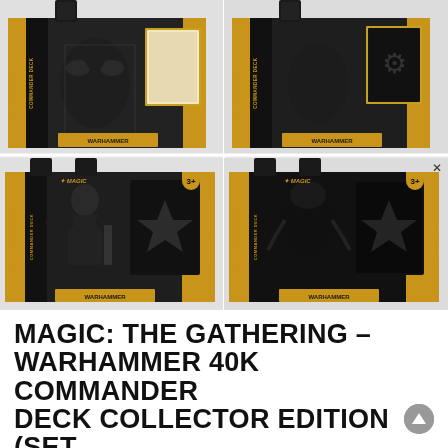[Figure (photo): Four Magic: The Gathering Warhammer 40K Commander Deck Collector Edition product boxes arranged in a 2x2 grid. Top row shows 'The Ruinous' and 'Necron Dynasty' boxes (partially cropped). Bottom row shows 'Forces of the Imperium' and 'Tyranid Swarm' boxes. All boxes are black with gold/yellow accents and the Magic and Warhammer logos.]
MAGIC: THE GATHERING – WARHAMMER 40K COMMANDER DECK COLLECTOR EDITION (SET